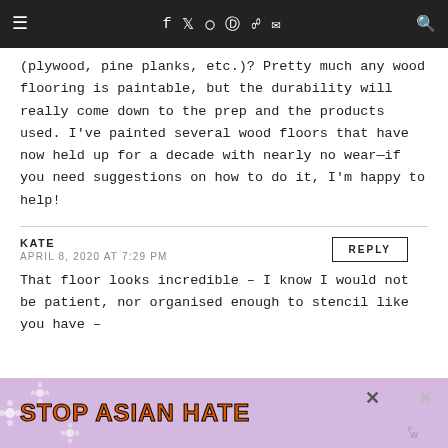≡   f  𝕹  ⊙  ℗  ᴿˢˢ  ✉   🔍
(plywood, pine planks, etc.)? Pretty much any wood flooring is paintable, but the durability will really come down to the prep and the products used. I've painted several wood floors that have now held up for a decade with nearly no wear—if you need suggestions on how to do it, I'm happy to help!
KATE
APRIL 8, 2020 AT 7:29 PM
REPLY
That floor looks incredible – I know I would not be patient, nor organised enough to stencil like you have –
[Figure (advertisement): Stop Asian Hate advertisement banner with orange bold text on purple/lavender background with flower decorations and a cartoon figure, with close buttons.]